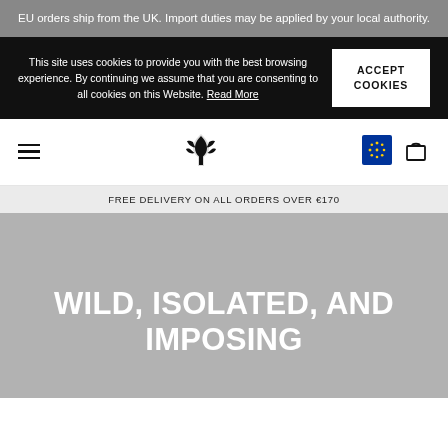EU orders ship from the UK. Import duties may be applied by your local authority.
This site uses cookies to provide you with the best browsing experience. By continuing we assume that you are consenting to all cookies on this Website. Read More
ACCEPT COOKIES
[Figure (logo): Stylized leaf/wing logo icon in black]
[Figure (infographic): EU flag circle icon]
[Figure (infographic): Shopping bag icon]
FREE DELIVERY ON ALL ORDERS OVER €170
WILD, ISOLATED, AND IMPOSING